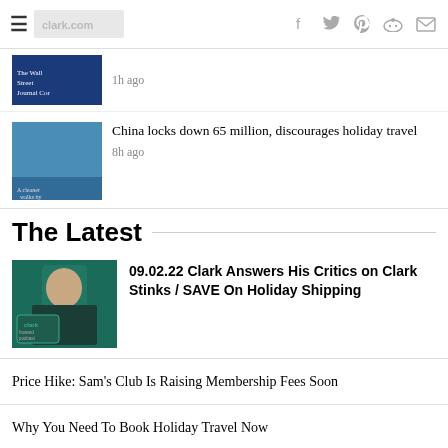≡ [logo] f  ♦  p  reddit  ✉
1h ago
[Figure (screenshot): News thumbnail showing The Wall Street Journal logo on dark blue background]
[Figure (photo): A cleaner walks by the shuttered Huaqianghe (cropped)]
China locks down 65 million, discourages holiday travel
8h ago
The Latest
[Figure (photo): Clark Howard smiling, holding arms crossed, wearing black shirt, Clark Howard Podcast logo on teal background]
09.02.22 Clark Answers His Critics on Clark Stinks / SAVE On Holiday Shipping
Price Hike: Sam's Club Is Raising Membership Fees Soon
Why You Need To Book Holiday Travel Now